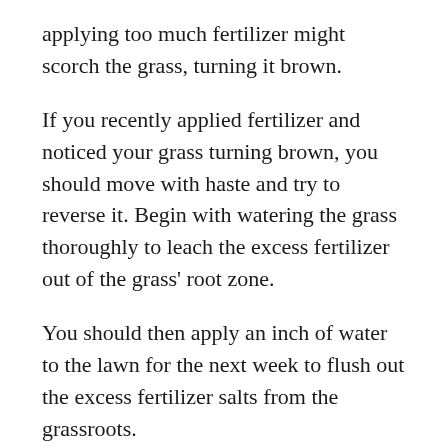applying too much fertilizer might scorch the grass, turning it brown.
If you recently applied fertilizer and noticed your grass turning brown, you should move with haste and try to reverse it. Begin with watering the grass thoroughly to leach the excess fertilizer out of the grass' root zone.
You should then apply an inch of water to the lawn for the next week to flush out the excess fertilizer salts from the grassroots.